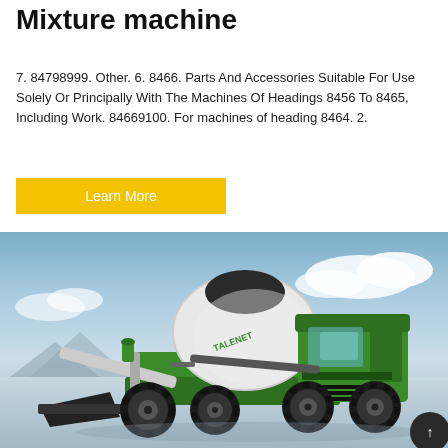Mixture machine
7. 84798999. Other. 6. 8466. Parts And Accessories Suitable For Use Solely Or Principally With The Machines Of Headings 8456 To 8465, Including Work. 84669100. For machines of heading 8464. 2.
[Figure (photo): A green self-loading concrete mixer truck (TALENET brand) with a large rotating drum, cab, and front loading bucket, photographed against a sky background.]